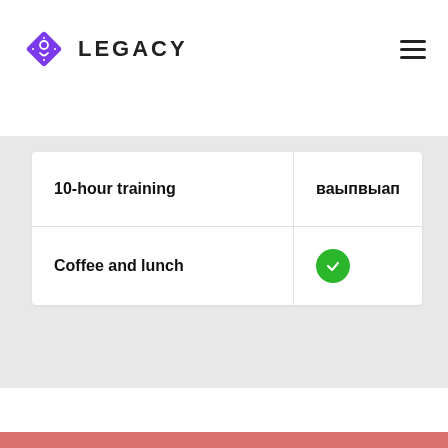LEGACY
|  | вaыпвыaп |
| --- | --- |
| 10-hour training | вaыпвыaп |
| Coffee and lunch | ✓ |
[Figure (screenshot): Gray background area below the table, lower portion of the page with a salmon/pink bar at the very bottom]